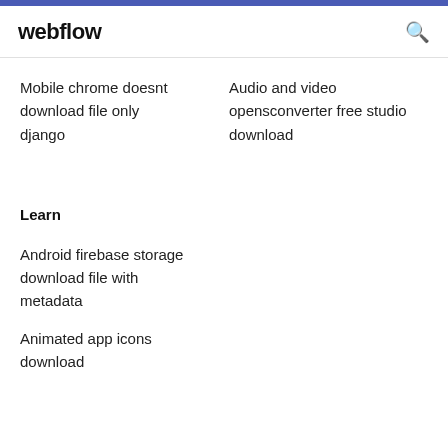webflow
Mobile chrome doesnt download file only django
Audio and video opensconverter free studio download
Learn
Android firebase storage download file with metadata
Animated app icons download